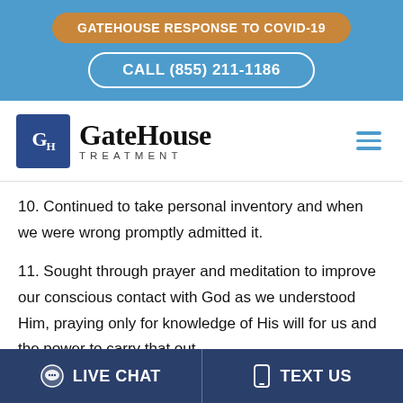GATEHOUSE RESPONSE TO COVID-19
CALL (855) 211-1186
[Figure (logo): GateHouse Treatment logo with blue square GH icon and text GateHouse TREATMENT]
10. Continued to take personal inventory and when we were wrong promptly admitted it.
11. Sought through prayer and meditation to improve our conscious contact with God as we understood Him, praying only for knowledge of His will for us and the power to carry that out.
LIVE CHAT   TEXT US